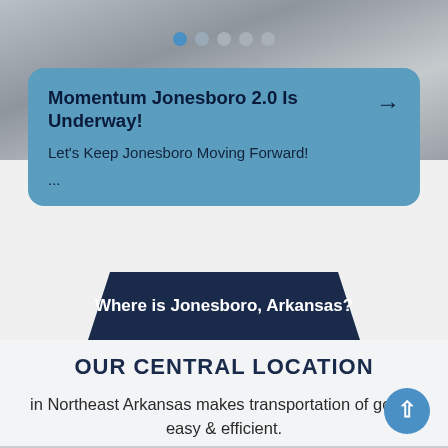[Figure (photo): Blurred grayscale photo background at the top of the page, partially visible behind a blue card]
Momentum Jonesboro 2.0 Is Underway!
Let's Keep Jonesboro Moving Forward!
...
Where is Jonesboro, Arkansas?
OUR CENTRAL LOCATION
in Northeast Arkansas makes transportation of goods easy & efficient.